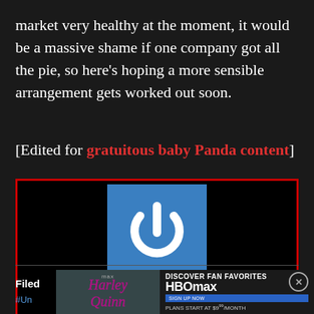market very healthy at the moment, it would be a massive shame if one company got all the pie, so here's hoping a more sensible arrangement gets worked out soon.
[Edited for gratuitous baby Panda content]
[Figure (other): Author card with black background, red border, blue power button icon, and author name 'David Houghton' in white bold text]
Filed
[Figure (other): HBO Max advertisement banner with Harley Quinn imagery on left, 'DISCOVER FAN FAVORITES HBOMAX SIGN UP NOW PLANS START AT $9.99/MONTH' on right, close button]